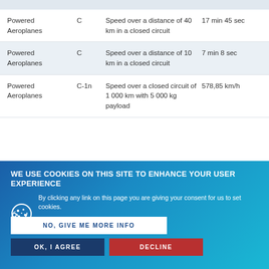| Category | Class | Description | Record |
| --- | --- | --- | --- |
| Powered Aeroplanes | C | Speed over a distance of 40 km in a closed circuit | 17 min 45 sec |
| Powered Aeroplanes | C | Speed over a distance of 10 km in a closed circuit | 7 min 8 sec |
| Powered Aeroplanes | C-1n | Speed over a closed circuit of 1 000 km with 5 000 kg payload | 578,85 km/h |
| Powered Aeroplanes | C-1c | Time to climb to 9 000 m | [hidden by overlay] |
| Powered Aeroplanes | C-1c | Time to climb to a 3 000 m | 01 min 53 sec |
| Powered Aeroplanes | C-1c | [speed record] | 366,16 km/h |
WE USE COOKIES ON THIS SITE TO ENHANCE YOUR USER EXPERIENCE
By clicking any link on this page you are giving your consent for us to set cookies.
NO, GIVE ME MORE INFO
OK, I AGREE
DECLINE